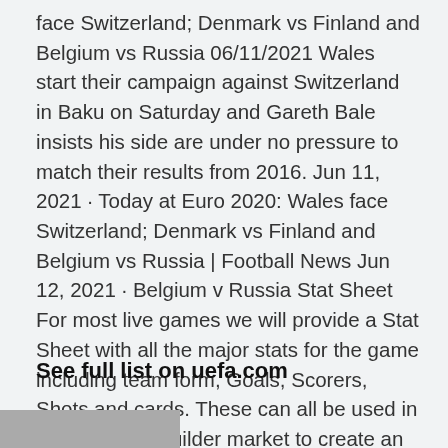face Switzerland; Denmark vs Finland and Belgium vs Russia 06/11/2021 Wales start their campaign against Switzerland in Baku on Saturday and Gareth Bale insists his side are under no pressure to match their results from 2016. Jun 11, 2021 · Today at Euro 2020: Wales face Switzerland; Denmark vs Finland and Belgium vs Russia | Football News Jun 12, 2021 · Belgium v Russia Stat Sheet For most live games we will provide a Stat Sheet with all the major stats for the game including team form, Goals, Scorers, Shots and cards. These can all be used in Bet365's Bet Builder market to create an acca for the game and to provide some enjoyment to in these big games.
See full list on uefa.com
[Figure (photo): Partial image visible at the bottom of the page, cropped]